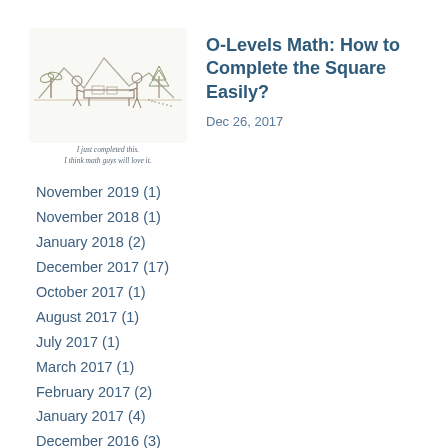[Figure (illustration): Hand-drawn illustration of two people at a table outdoors with mountains and trees in the background, with caption 'I just completed this. I think math guys will love it.']
O-Levels Math: How to Complete the Square Easily?
Dec 26, 2017
November 2019 (1)
November 2018 (1)
January 2018 (2)
December 2017 (17)
October 2017 (1)
August 2017 (1)
July 2017 (1)
March 2017 (1)
February 2017 (2)
January 2017 (4)
December 2016 (3)
November 2016 (1)
March 2016 (1)
August 2015 (2)